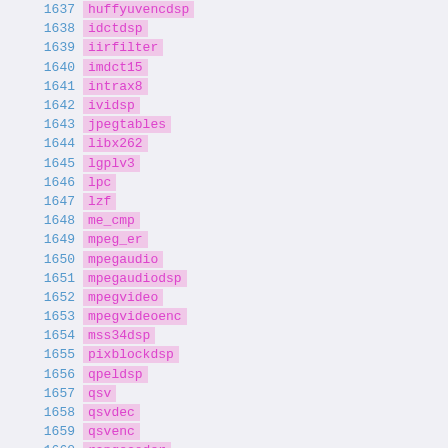1637 huffyuvencdsp
1638 idctdsp
1639 iirfilter
1640 imdct15
1641 intrax8
1642 ividsp
1643 jpegtables
1644 libx262
1645 lgplv3
1646 lpc
1647 lzf
1648 me_cmp
1649 mpeg_er
1650 mpegaudio
1651 mpegaudiodsp
1652 mpegvideo
1653 mpegvideoenc
1654 mss34dsp
1655 pixblockdsp
1656 qpeldsp
1657 qsv
1658 qsvdec
1659 qsvenc
1660 rangecoder
1661 riffdec